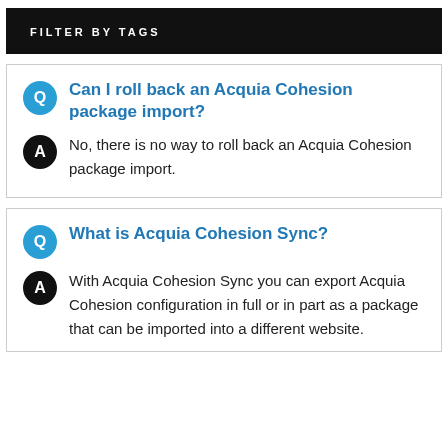FILTER BY TAGS
Q Can I roll back an Acquia Cohesion package import?
A No, there is no way to roll back an Acquia Cohesion package import.
Q What is Acquia Cohesion Sync?
A With Acquia Cohesion Sync you can export Acquia Cohesion configuration in full or in part as a package that can be imported into a different website.